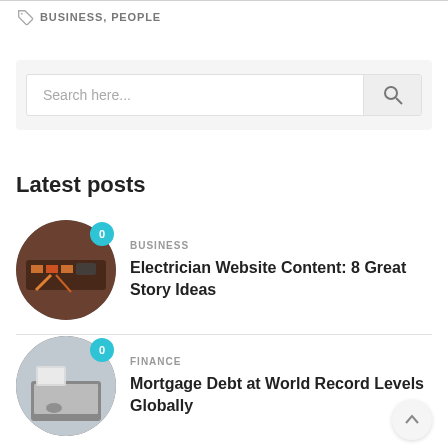BUSINESS, PEOPLE
[Figure (screenshot): Search bar with placeholder text 'Search here...' and a search button with magnifying glass icon]
Latest posts
[Figure (photo): Circular thumbnail of electrician equipment with orange badge showing 0]
BUSINESS
Electrician Website Content: 8 Great Story Ideas
[Figure (photo): Circular thumbnail of finance/laptop scene with orange badge showing 0]
FINANCE
Mortgage Debt at World Record Levels Globally